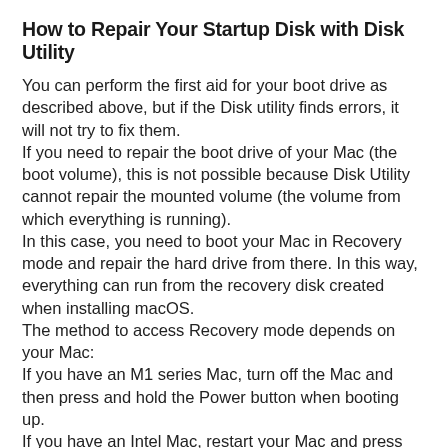How to Repair Your Startup Disk with Disk Utility
You can perform the first aid for your boot drive as described above, but if the Disk utility finds errors, it will not try to fix them.
If you need to repair the boot drive of your Mac (the boot volume), this is not possible because Disk Utility cannot repair the mounted volume (the volume from which everything is running).
In this case, you need to boot your Mac in Recovery mode and repair the hard drive from there. In this way, everything can run from the recovery disk created when installing macOS.
The method to access Recovery mode depends on your Mac:
If you have an M1 series Mac, turn off the Mac and then press and hold the Power button when booting up.
If you have an Intel Mac, restart your Mac and press